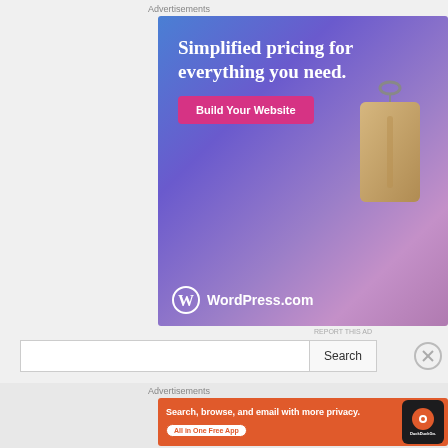Advertisements
[Figure (illustration): WordPress.com advertisement banner with gradient blue-purple background, text 'Simplified pricing for everything you need.', a pink 'Build Your Website' button, a hanging price tag illustration, and WordPress.com logo at the bottom.]
REPORT THIS AD
Search
Advertisements
[Figure (illustration): DuckDuckGo advertisement banner with orange background, text 'Search, browse, and email with more privacy. All in One Free App' with a white rounded button, and a phone mockup showing DuckDuckGo logo on the right.]
REPORT THIS AD